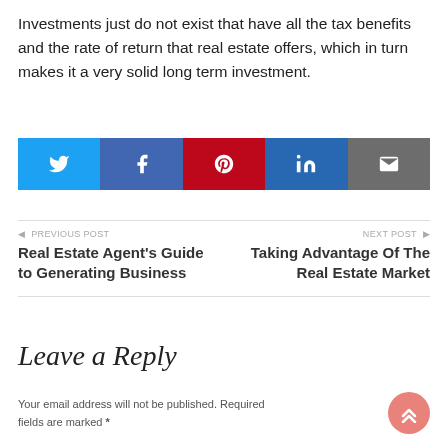Investments just do not exist that have all the tax benefits and the rate of return that real estate offers, which in turn makes it a very solid long term investment.
[Figure (other): Social media sharing buttons: Twitter (blue), Facebook (dark blue), Pinterest (red), LinkedIn (blue), Email (gray)]
◄ PREVIOUS POST
Real Estate Agent's Guide to Generating Business
NEXT POST ►
Taking Advantage Of The Real Estate Market
Leave a Reply
Your email address will not be published. Required fields are marked *